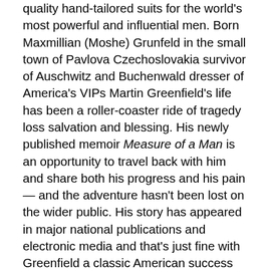quality hand-tailored suits for the world's most powerful and influential men. Born Maxmillian (Moshe) Grunfeld in the small town of Pavlova Czechoslovakia survivor of Auschwitz and Buchenwald dresser of America's VIPs Martin Greenfield's life has been a roller-coaster ride of tragedy loss salvation and blessing. His newly published memoir Measure of a Man is an opportunity to travel back with him and share both his progress and his pain — and the adventure hasn't been lost on the wider public. His story has appeared in major national publications and electronic media and that's just fine with Greenfield a classic American success story whose love for the US has not diminished over the years. "I actually wrote the book in order to acknowledge the second half of my life " Mr. Greenfield tells Mishpacha. "It's amazing how anyone can come to America without a penny in his pocket and can accomplish what I did. I went to a high school and learned English — how to read and write. Now everything that I would read